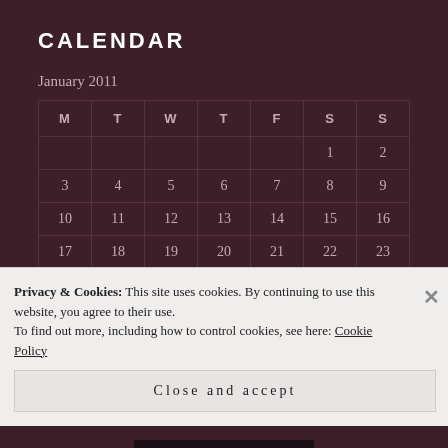CALENDAR
January 2011
| M | T | W | T | F | S | S |
| --- | --- | --- | --- | --- | --- | --- |
|  |  |  |  |  | 1 | 2 |
| 3 | 4 | 5 | 6 | 7 | 8 | 9 |
| 10 | 11 | 12 | 13 | 14 | 15 | 16 |
| 17 | 18 | 19 | 20 | 21 | 22 | 23 |
| 24 | 25 | 26 | 27 | 28 | 29 | 30 |
Privacy & Cookies: This site uses cookies. By continuing to use this website, you agree to their use.
To find out more, including how to control cookies, see here: Cookie Policy
Close and accept